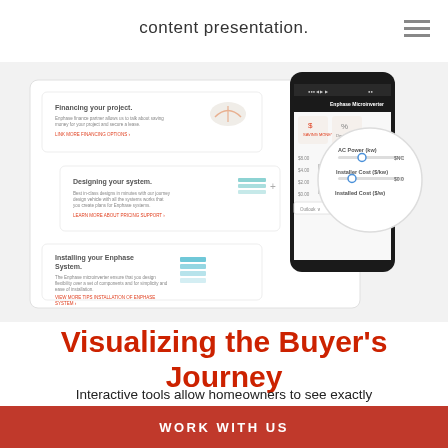content presentation.
[Figure (screenshot): Screenshot of Enphase homeowner-facing web content showing three sections: 'Financing your project', 'Designing your system', 'Installing your Enphase System', alongside a smartphone displaying the Enphase Microinverter app with a savings calculator showing sliders for AC Power, Installer Cost, and Installed Cost with a bar chart comparing Using vs Enphase costs.]
Visualizing the Buyer's Journey
Interactive tools allow homeowners to see exactly how Enphase will save them money.
WORK WITH US